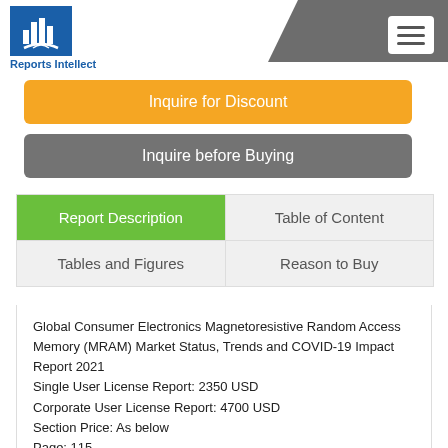Reports Intellect
Inquire for Discount
Inquire before Buying
Report Description
Table of Content
Tables and Figures
Reason to Buy
Global Consumer Electronics Magnetoresistive Random Access Memory (MRAM) Market Status, Trends and COVID-19 Impact Report 2021
Single User License Report: 2350 USD
Corporate User License Report: 4700 USD
Section Price: As below
Page: 115
Chart and Figure: 142